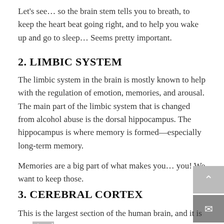Let's see… so the brain stem tells you to breath, to keep the heart beat going right, and to help you wake up and go to sleep… Seems pretty important.
2. LIMBIC SYSTEM
The limbic system in the brain is mostly known to help with the regulation of emotion, memories, and arousal. The main part of the limbic system that is changed from alcohol abuse is the dorsal hippocampus. The hippocampus is where memory is formed—especially long-term memory.
Memories are a big part of what makes you… you! We want to keep those.
3. CEREBRAL CORTEX
This is the largest section of the human brain, and it is associated with higher functions, like thought. The insula, in this part of the